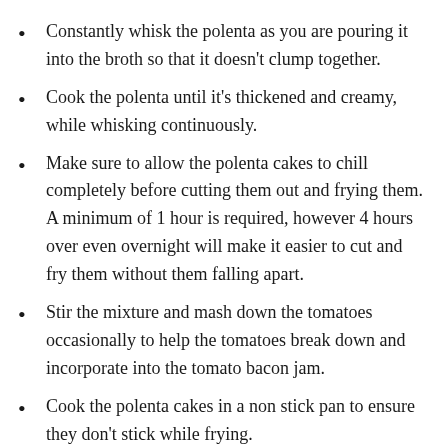Constantly whisk the polenta as you are pouring it into the broth so that it doesn't clump together.
Cook the polenta until it's thickened and creamy, while whisking continuously.
Make sure to allow the polenta cakes to chill completely before cutting them out and frying them. A minimum of 1 hour is required, however 4 hours over even overnight will make it easier to cut and fry them without them falling apart.
Stir the mixture and mash down the tomatoes occasionally to help the tomatoes break down and incorporate into the tomato bacon jam.
Cook the polenta cakes in a non stick pan to ensure they don't stick while frying.